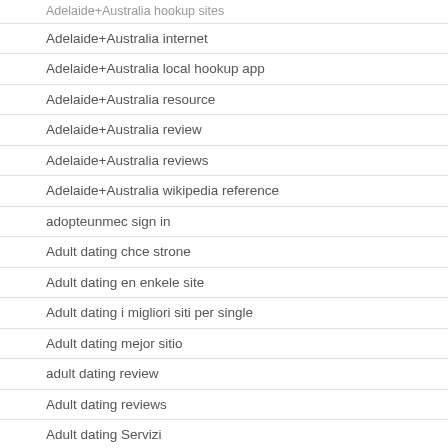Adelaide+Australia hookup sites
Adelaide+Australia internet
Adelaide+Australia local hookup app
Adelaide+Australia resource
Adelaide+Australia review
Adelaide+Australia reviews
Adelaide+Australia wikipedia reference
adopteunmec sign in
Adult dating chce strone
Adult dating en enkele site
Adult dating i migliori siti per single
Adult dating mejor sitio
adult dating review
Adult dating reviews
Adult dating Servizi